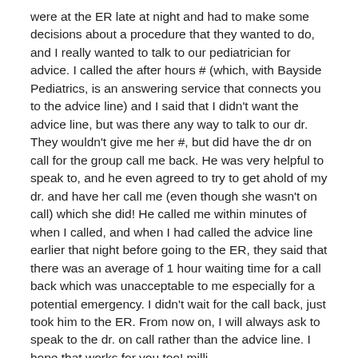were at the ER late at night and had to make some decisions about a procedure that they wanted to do, and I really wanted to talk to our pediatrician for advice. I called the after hours # (which, with Bayside Pediatrics, is an answering service that connects you to the advice line) and I said that I didn't want the advice line, but was there any way to talk to our dr. They wouldn't give me her #, but did have the dr on call for the group call me back. He was very helpful to speak to, and he even agreed to try to get ahold of my dr. and have her call me (even though she wasn't on call) which she did! He called me within minutes of when I called, and when I had called the advice line earlier that night before going to the ER, they said that there was an average of 1 hour waiting time for a call back which was unacceptable to me especially for a potential emergency. I didn't wait for the call back, just took him to the ER. From now on, I will always ask to speak to the dr. on call rather than the advice line. I hope that works for you too! milli
I feel for you and your less than satisfying after-hours Peds call. I wanted to write to let you know that there ARE pediatricians out there that answer their own evening and